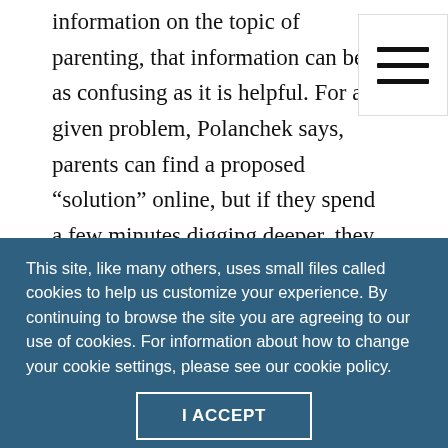information on the topic of parenting, that information can be as confusing as it is helpful. For any given problem, Polanchek says, parents can find a proposed “solution” online, but if they spend a few minutes digging deeper, they are likely to uncover an opposite solution being offered for the same problem. Parents who come to see a counselor for help have likely already exhausted the tips from their neighbors, their child’s school counselor and their co-workers, Polanchek says. In addition, they have
This site, like many others, uses small files called cookies to help us customize your experience. By continuing to browse the site you are agreeing to our use of cookies. For information about how to change your cookie settings, please see our cookie policy.
I ACCEPT